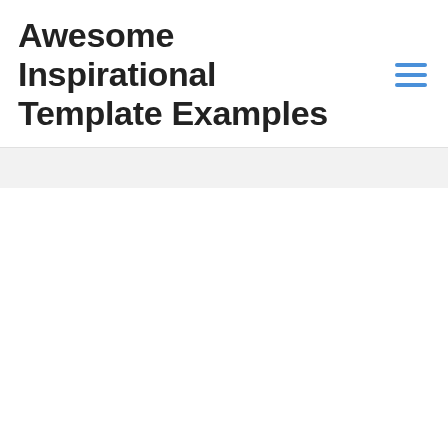Awesome Inspirational Template Examples
[Figure (other): Hamburger menu icon with three horizontal blue lines]
[Figure (other): White content area placeholder box below gray divider section]